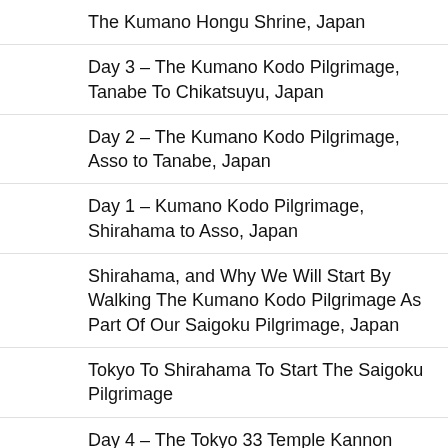The Kumano Hongu Shrine, Japan
Day 3 – The Kumano Kodo Pilgrimage, Tanabe To Chikatsuyu, Japan
Day 2 – The Kumano Kodo Pilgrimage, Asso to Tanabe, Japan
Day 1 – Kumano Kodo Pilgrimage, Shirahama to Asso, Japan
Shirahama, and Why We Will Start By Walking The Kumano Kodo Pilgrimage As Part Of Our Saigoku Pilgrimage, Japan
Tokyo To Shirahama To Start The Saigoku Pilgrimage
Day 4 – The Tokyo 33 Temple Kannon Pilgrimage
Day 3 – The Tokyo 33 Temple Kannon Pilgrimage
Day 2 – The Tokyo 33 Temple Kannon Pilgrimage